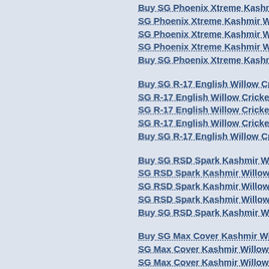Buy SG Phoenix Xtreme Kashmir Wi...
SG Phoenix Xtreme Kashmir Willow C...
SG Phoenix Xtreme Kashmir Willow C...
SG Phoenix Xtreme Kashmir Willow C...
Buy SG Phoenix Xtreme Kashmir Wil...
Buy SG R-17 English Willow Cricket B...
SG R-17 English Willow Cricket Bat c...
SG R-17 English Willow Cricket Bat p...
SG R-17 English Willow Cricket Bat o...
Buy SG R-17 English Willow Cricket B...
Buy SG RSD Spark Kashmir Willow C...
SG RSD Spark Kashmir Willow Cricke...
SG RSD Spark Kashmir Willow Cricke...
SG RSD Spark Kashmir Willow Cricke...
Buy SG RSD Spark Kashmir Willow C...
Buy SG Max Cover Kashmir Willow C...
SG Max Cover Kashmir Willow Cricke...
SG Max Cover Kashmir Willow Cricke...
SG Max Cover Kashmir Willow Cricke...
Buy SG Max Cover Kashmir Willow C...
Buy SG Boundary Xtreme Kashmir W...